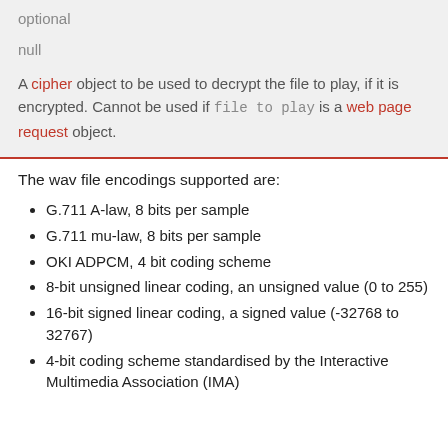optional
null
A cipher object to be used to decrypt the file to play, if it is encrypted. Cannot be used if file to play is a web page request object.
The wav file encodings supported are:
G.711 A-law, 8 bits per sample
G.711 mu-law, 8 bits per sample
OKI ADPCM, 4 bit coding scheme
8-bit unsigned linear coding, an unsigned value (0 to 255)
16-bit signed linear coding, a signed value (-32768 to 32767)
4-bit coding scheme standardised by the Interactive Multimedia Association (IMA)